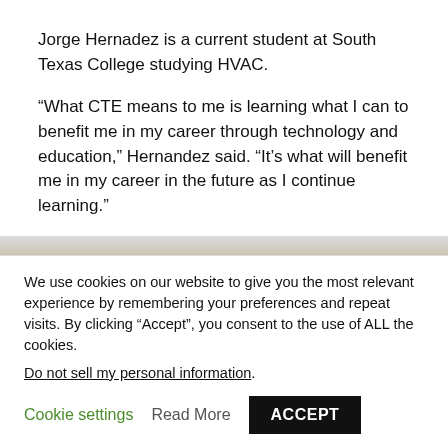Jorge Hernadez is a current student at South Texas College studying HVAC.
“What CTE means to me is learning what I can to benefit me in my career through technology and education,” Hernandez said. “It’s what will benefit me in my career in the future as I continue learning.”
[Figure (photo): Partial view of a photo strip visible at the bottom of the main content area, showing a blurred/cropped image]
We use cookies on our website to give you the most relevant experience by remembering your preferences and repeat visits. By clicking “Accept”, you consent to the use of ALL the cookies.
Do not sell my personal information.
Cookie settings   Read More   ACCEPT